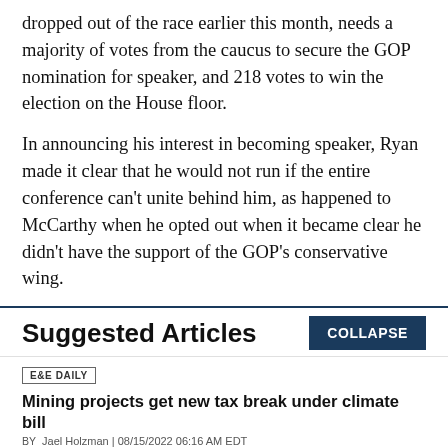dropped out of the race earlier this month, needs a majority of votes from the caucus to secure the GOP nomination for speaker, and 218 votes to win the election on the House floor.
In announcing his interest in becoming speaker, Ryan made it clear that he would not run if the entire conference can't unite behind him, as happened to McCarthy when he opted out when it became clear he didn't have the support of the GOP's conservative wing.
Suggested Articles
E&E DAILY
Mining projects get new tax break under climate bill
BY Jael Holzman | 08/15/2022 06:16 AM EDT
Read More >>
E&E DAILY
'A lot more to do': Lawmakers eye additional climate action